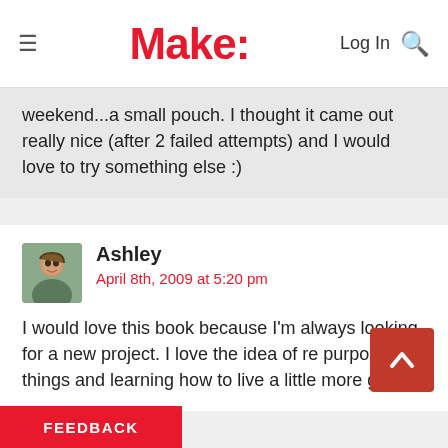Make:
weekend...a small pouch. I thought it came out really nice (after 2 failed attempts) and I would love to try something else :)
Ashley
April 8th, 2009 at 5:20 pm
I would love this book because I’m always looking for a new project. I love the idea of re purposing things and learning how to live a little more green.
FEEDBACK